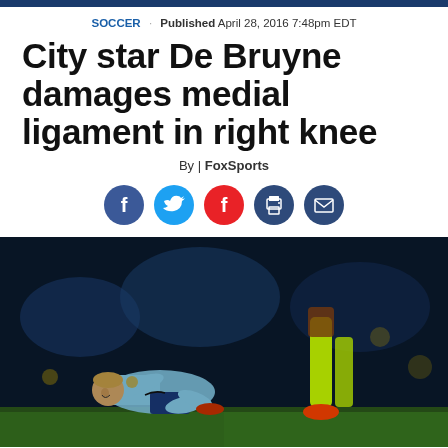SOCCER · Published April 28, 2016 7:48pm EDT
City star De Bruyne damages medial ligament in right knee
By | FoxSports
[Figure (infographic): Social media sharing icons: Facebook (blue circle with f), Twitter (light blue circle with bird), Flipboard (red circle with f), Print (dark blue circle with printer), Email (dark blue circle with envelope)]
[Figure (photo): Manchester City player Kevin De Bruyne lying on the ground in pain clutching his right knee, wearing a light blue Manchester City jersey. Another player in neon yellow/green socks stands nearby. The photo appears taken during a night match.]